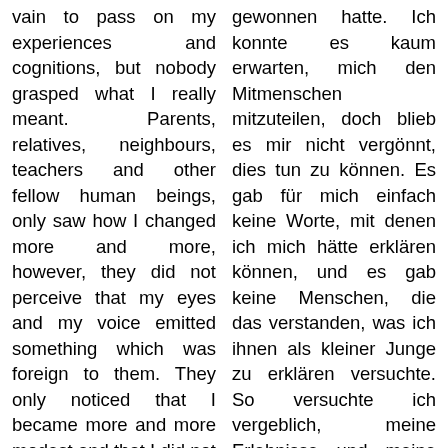vain to pass on my experiences and cognitions, but nobody grasped what I really meant. Parents, relatives, neighbours, teachers and other fellow human beings, only saw how I changed more and more, however, they did not perceive that my eyes and my voice emitted something which was foreign to them. They only noticed that I became more and more modest and that I did not condemn anything or anyone and that I always gave what I could give. I became a human being who was no longer the same as the others, one who was
gewonnen hatte. Ich konnte es kaum erwarten, mich den Mitmenschen mitzuteilen, doch blieb es mir nicht vergönnt, dies tun zu können. Es gab für mich einfach keine Worte, mit denen ich mich hätte erklären können, und es gab keine Menschen, die das verstanden, was ich ihnen als kleiner Junge zu erklären versuchte. So versuchte ich vergeblich, meine Erlebnisse und meine Erkenntnisse weiterzugeben, doch niemand begriff, was ich eigentlich meinte. Die Eltern, Verwandten, Nachbarn, und andere